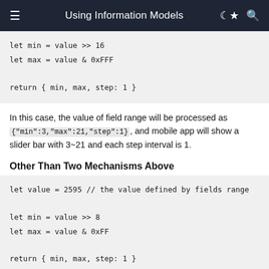Using Information Models
let min = value >> 16
let max = value & 0xFFF

return { min, max, step: 1 }
In this case, the value of field range will be processed as {"min":3,"max":21,"step":1}, and mobile app will show a slider bar with 3~21 and each step interval is 1.
Other Than Two Mechanisms Above
let value = 2595 // the value defined by fields range

let min = value >> 8
let max = value & 0xFF

return { min, max, step: 1 }